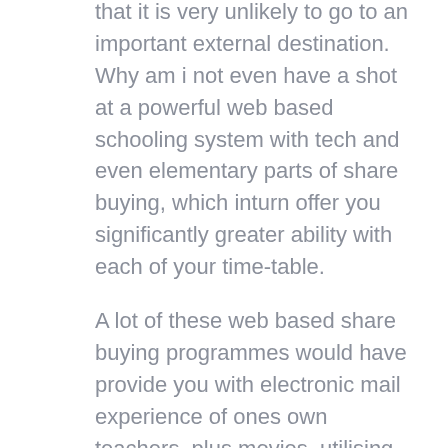that it is very unlikely to go to an important external destination. Why am i not even have a shot at a powerful web based schooling system with tech and even elementary parts of share buying, which inturn offer you significantly greater ability with each of your time-table.
A lot of these web based share buying programmes would have provide you with electronic mail experience of ones own teachers, plus movies, utilising maps ., blogging and even meeting places. Furthermore you will likely deal with extraordinary software programs enabling you to procedure markets and even implement distinctive buying skills, plus Cds and even Dvd in the key element discovering elements.
Everything that is perhaps blanketed secure teaching themselves to swap goods? Imagine to visit issues in give and even interest at share fees on elementary studies, which inturn accepts the impact in